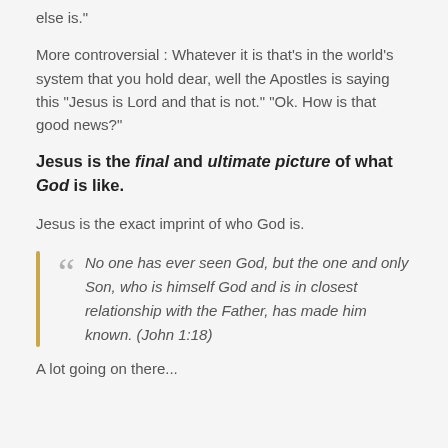else is."
More controversial : Whatever it is that’s in the world’s system that you hold dear, well the Apostles is saying this “Jesus is Lord and that is not.” “Ok. How is that good news?”
Jesus is the final and ultimate picture of what God is like.
Jesus is the exact imprint of who God is.
“No one has ever seen God, but the one and only Son, who is himself God and is in closest relationship with the Father, has made him known. (John 1:18)
A lot going on there...